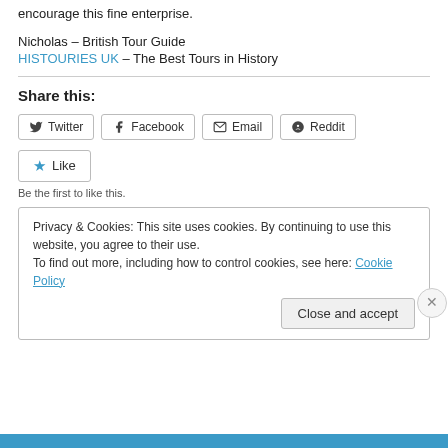encourage this fine enterprise.
Nicholas – British Tour Guide
HISTOURIES UK – The Best Tours in History
Share this:
Twitter  Facebook  Email  Reddit
Like
Be the first to like this.
Privacy & Cookies: This site uses cookies. By continuing to use this website, you agree to their use.
To find out more, including how to control cookies, see here: Cookie Policy
Close and accept